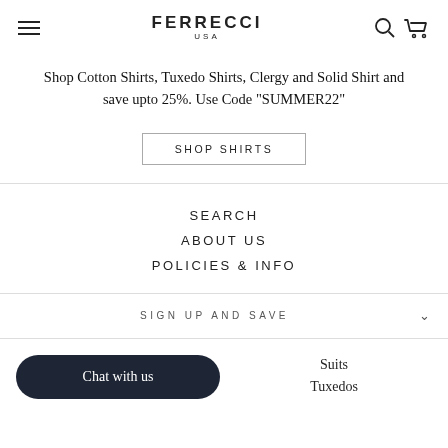FERRECCI USA
Shop Cotton Shirts, Tuxedo Shirts, Clergy and Solid Shirt and save upto 25%. Use Code "SUMMER22"
SHOP SHIRTS
SEARCH
ABOUT US
POLICIES & INFO
SIGN UP AND SAVE
Chat with us
Suits
Tuxedos